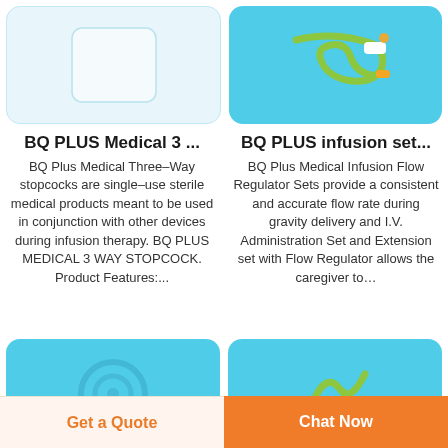[Figure (photo): Medical product image placeholder - BQ PLUS Medical 3-Way Stopcock product on light blue background]
[Figure (photo): BQ PLUS infusion set with green tubing and flow regulator on blue background]
BQ PLUS Medical 3 ...
BQ Plus Medical Three-Way stopcocks are single-use sterile medical products meant to be used in conjunction with other devices during infusion therapy. BQ PLUS MEDICAL 3 WAY STOPCOCK. Product Features:...
BQ PLUS infusion set...
BQ Plus Medical Infusion Flow Regulator Sets provide a consistent and accurate flow rate during gravity delivery and I.V. Administration Set and Extension set with Flow Regulator allows the caregiver to...
[Figure (photo): BQ PLUS medical product on blue background - bottom left]
[Figure (photo): BQ PLUS medical product on blue/green background - bottom right]
Get a Quote
Chat Now